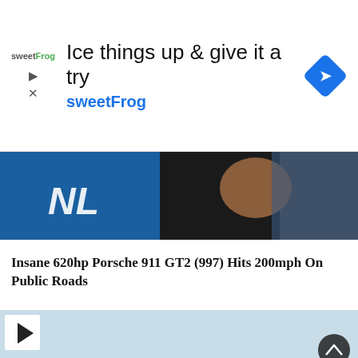[Figure (screenshot): sweetFrog advertisement banner with tagline 'Ice things up & give it a try sweetFrog', logo, and blue diamond navigation icon]
[Figure (screenshot): Video thumbnail strip showing partial text 'NL' on blue background with person's hand visible]
Insane 620hp Porsche 911 GT2 (997) Hits 200mph On Public Roads
[Figure (photo): Man leaning over a mint/turquoise Porsche 911 on a road with trees in background, with a video play button overlay]